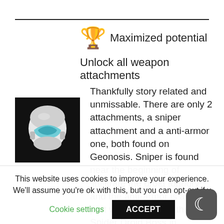🏆 Maximized potential
Unlock all weapon attachments
[Figure (photo): Dark background square image showing a white Clone Trooper / Mandalorian helmet with blue visor details — game achievement icon]
Thankfully story related and unmissable. There are only 2 attachments, a sniper attachment and a anti-armor one, both found on Geonosis. Sniper is found near the beginning of 'Infiltrate the droid foundry' and the anti-armor is at the part where you fight the Spider Droid Boss in 'Advance to
This website uses cookies to improve your experience. We'll assume you're ok with this, but you can opt-out if y
Cookie settings   ACCEPT